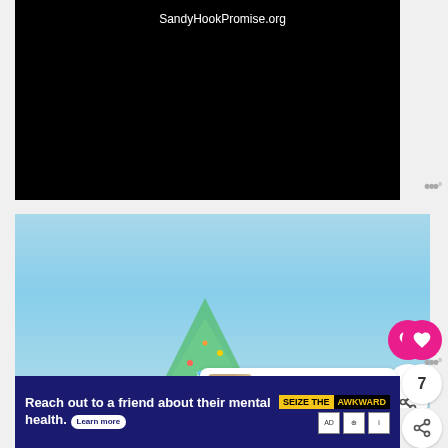[Figure (screenshot): Video player frame with black background showing URL SandyHookPromise.org]
SandyHookPromise.org
[Figure (photo): Outdoor photo with light blue sky and a green illuminated Christmas tree shape at the bottom center]
7
WHAT'S NEXT → Route 66 Road Trip Day 8:...
[Figure (screenshot): Advertisement: Reach out to a friend about their mental health. Learn more. SEIZE THE AWKWARD]